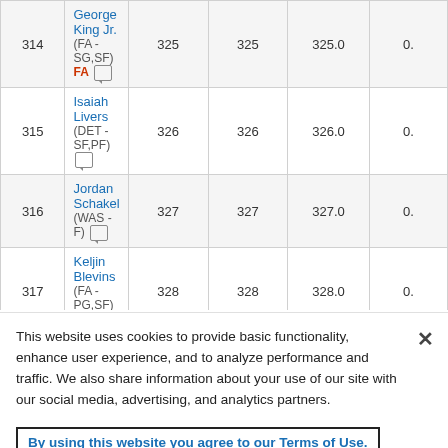| Rank | Player | Col1 | Col2 | Col3 | Col4 |
| --- | --- | --- | --- | --- | --- |
| 314 | George King Jr. (FA - SG,SF) FA [chat] | 325 | 325 | 325.0 | 0. |
| 315 | Isaiah Livers (DET - SF,PF) [chat] | 326 | 326 | 326.0 | 0. |
| 316 | Jordan Schakel (WAS - F) [chat] | 327 | 327 | 327.0 | 0. |
| 317 | Keljin Blevins (FA - PG,SF) FA [chat] | 328 | 328 | 328.0 | 0. |
| 318 | Yves Pons (FA - SF) FA [chat] | 329 | 329 | 329.0 | 0. |
This website uses cookies to provide basic functionality, enhance user experience, and to analyze performance and traffic. We also share information about your use of our site with our social media, advertising, and analytics partners.
By using this website you agree to our Terms of Use.
Do Not Sell My Personal Information
Accept Cookies